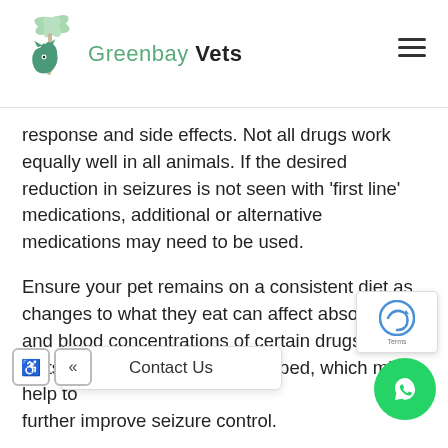Greenbay Vets
response and side effects. Not all drugs work equally well in all animals. If the desired reduction in seizures is not seen with 'first line' medications, additional or alternative medications may need to be used.
Ensure your pet remains on a consistent diet as changes to what they eat can affect absorption and blood concentrations of certain drugs. New diets are also currently being developed, which might help to further improve seizure control.